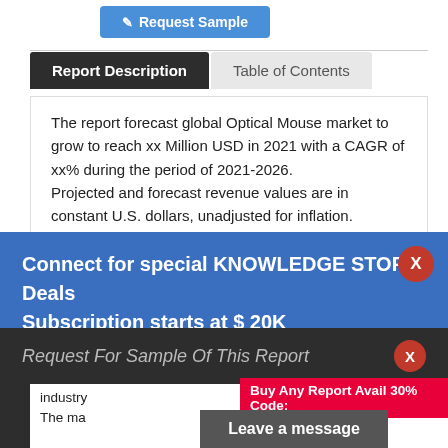Request Sample
Report Description
Table of Contents
The report forecast global Optical Mouse market to grow to reach xx Million USD in 2021 with a CAGR of xx% during the period of 2021-2026.
Projected and forecast revenue values are in constant U.S. dollars, unadjusted for inflation.
Connect for special KNOWLEDGE STORE Deals
Subscription starts at $ 20K
The report demonstrates detail coverage of Optical Mouse industry and main market trends.
The data sources include but not limited to reports
Request For Sample Of This Report
Buy Any Report Avail 30%
Code:
industry
The ma
Leave a message